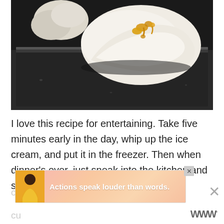[Figure (photo): Close-up photograph of ice cream in a dark metal loaf pan, with white creamy swirls and amber honey drizzled on top. Dark moody background.]
I love this recipe for entertaining. Take five minutes early in the day, whip up the ice cream, and put it in the freezer. Then when dinner's over, just sneak into the kitchen and scoop this
[Figure (other): Advertisement banner with pink/peach gradient background showing a person in a yellow shirt and text 'Actions speak louder than words.' with a close button.]